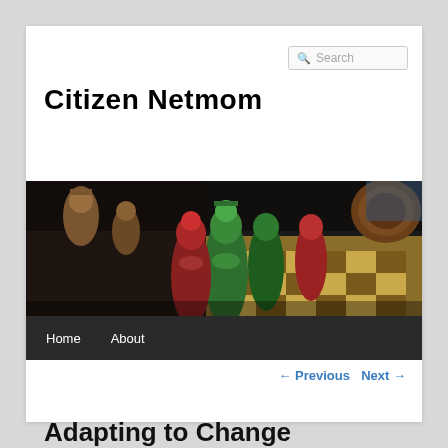Search
Citizen Netmom
[Figure (photo): Close-up photo of colorful chess pieces (red and green figures) on a decorated wooden chess board with yellow and brown squares]
Home   About
← Previous   Next →
Adapting to Change